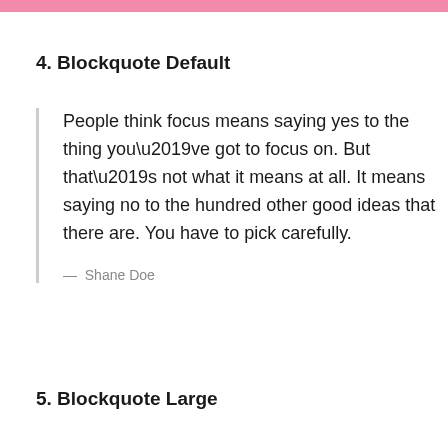4. Blockquote Default
People think focus means saying yes to the thing you’ve got to focus on. But that’s not what it means at all. It means saying no to the hundred other good ideas that there are. You have to pick carefully.
— Shane Doe
5. Blockquote Large